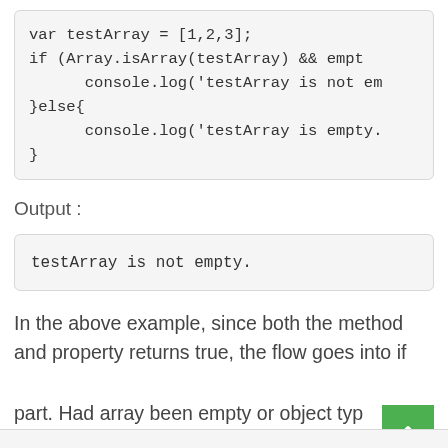var testArray = [1,2,3];
if (Array.isArray(testArray) && empt
      console.log('testArray is not em
}else{
      console.log('testArray is empty.
}
Output :
testArray is not empty.
In the above example, since both the method and property returns true, the flow goes into if part. Had array been empty or object typ  would have gone to else part.